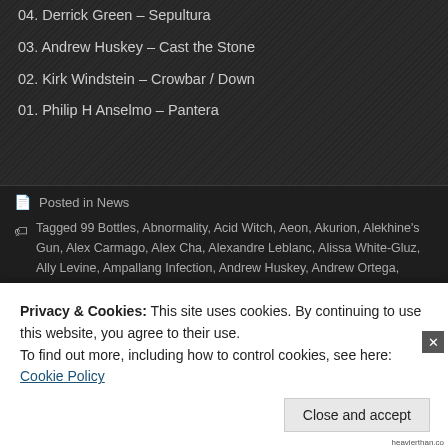04. Derrick Green – Sepultura
03. Andrew Huskey – Cast the Stone
02. Kirk Windstein – Crowbar / Down
01. Philip H Anselmo – Pantera
Posted in News
Tagged 99 Bottles, Abnormality, Acid Witch, Aeon, Akurion, Alekhine's Gun, Alex Carmago, Alex Cha, Alexandre Leblanc, Alissa White-Gluz, Ally Levine, Ampallang Infection, Andrew Huskey, Andrew Ortega, Anthony Trapini, Apollo Audio Alternative, Arch Enemy, Athiest, Azusa, "Captain" Chris Andrews, "Necro" Tom Quach, B.C. Brian Craig, Bandit, Beekeeper, Ben Marotta, Bill Kelliher, Blood Red Throne, Brendon Small, Brian Kingsland, Brian Slagel, Broken Hope, Burton C. Bell, Butcher Babies, Carla Harvey, Carlos de Anda, Cast The Stone, Castrator, Cephalic Carnage, Cerebral Bore, charity, Child Bite, Chris "Whiskey" Wilson, Chris Copp, Chuck Billy, Cloud Rat, Cody Souza, Colin Clive, Courtney Cox, Crackwhore, Crowba, Cryptopsy, Dan Potthast, Danko Jones, Dark Funeral Steve "Zetro" Souza, Dave Hill, David White, Death Angel, Dennis Sanders, Derek Engemann, Darketa, Derrick Green, Dethklok, Devourment, Don Jamieson, Don't
Privacy & Cookies: This site uses cookies. By continuing to use this website, you agree to their use.
To find out more, including how to control cookies, see here: Cookie Policy
Close and accept